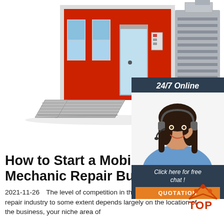[Figure (photo): Red industrial spray booth / paint booth with ramps, windows, and attached gray ventilation unit on white background]
[Figure (infographic): Chat widget with dark blue header saying 24/7 Online, photo of smiling woman with headset, text Click here for free chat!, and orange QUOTATION button]
How to Start a Mobile Auto Mechanic Repair Business in
2021-11-26  The level of competition in the auto mechanic repair industry to some extent depends largely on the location of the business, your niche area of
[Figure (logo): TOP logo with orange triangle/arrow design and red/orange dots]